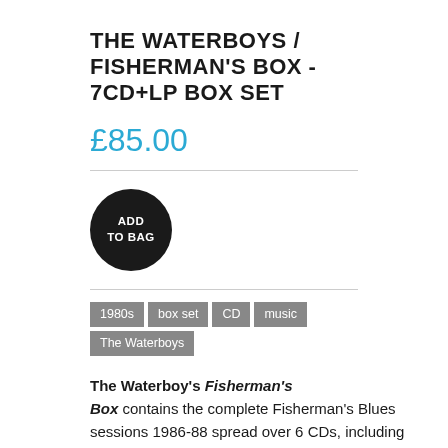THE WATERBOYS / FISHERMAN'S BOX - 7CD+LP BOX SET
£85.00
[Figure (other): Black circular button with white text reading 'ADD TO BAG']
1980s
box set
CD
music
The Waterboys
The Waterboy's Fisherman's Box contains the complete Fisherman's Blues sessions 1986-88 spread over 6 CDs, including 80 previously unreleased tracks.
The box also includes bonus CDs for…